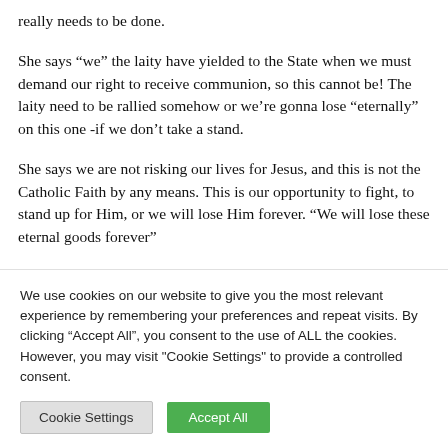really needs to be done.
She says “we” the laity have yielded to the State when we must demand our right to receive communion, so this cannot be! The laity need to be rallied somehow or we’re gonna lose “eternally” on this one -if we don’t take a stand.
She says we are not risking our lives for Jesus, and this is not the Catholic Faith by any means. This is our opportunity to fight, to stand up for Him, or we will lose Him forever. “We will lose these eternal goods forever”
We use cookies on our website to give you the most relevant experience by remembering your preferences and repeat visits. By clicking “Accept All”, you consent to the use of ALL the cookies. However, you may visit "Cookie Settings" to provide a controlled consent.